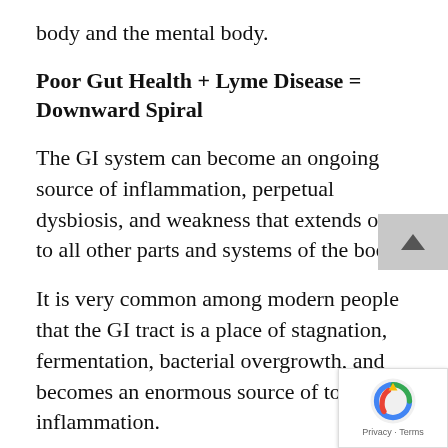body and the mental body.
Poor Gut Health + Lyme Disease = Downward Spiral
The GI system can become an ongoing source of inflammation, perpetual dysbiosis, and weakness that extends out to all other parts and systems of the body.
It is very common among modern people that the GI tract is a place of stagnation, fermentation, bacterial overgrowth, and becomes an enormous source of toxicity inflammation.